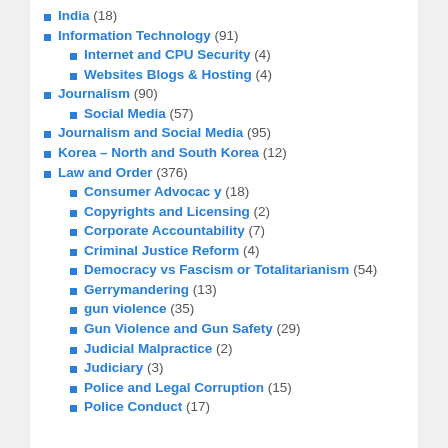India (18)
Information Technology (91)
Internet and CPU Security (4)
Websites Blogs & Hosting (4)
Journalism (90)
Social Media (57)
Journalism and Social Media (95)
Korea – North and South Korea (12)
Law and Order (376)
Consumer Advocacy (18)
Copyrights and Licensing (2)
Corporate Accountability (7)
Criminal Justice Reform (4)
Democracy vs Fascism or Totalitarianism (54)
Gerrymandering (13)
gun violence (35)
Gun Violence and Gun Safety (29)
Judicial Malpractice (2)
Judiciary (3)
Police and Legal Corruption (15)
Police Conduct (17)